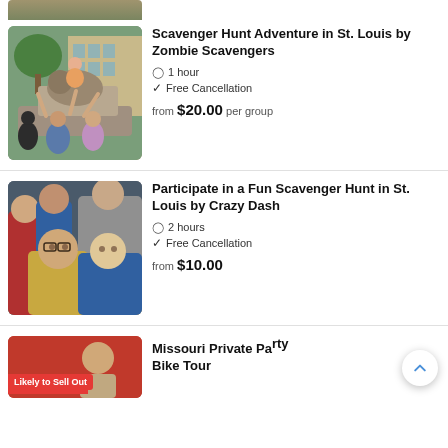[Figure (photo): Partial image visible at top of page — cropped, shows people near a dog]
Scavenger Hunt Adventure in St. Louis by Zombie Scavengers
1 hour
Free Cancellation
from $20.00 per group
[Figure (photo): Group selfie of people in hooded sweatshirts making funny faces]
Participate in a Fun Scavenger Hunt in St. Louis by Crazy Dash
2 hours
Free Cancellation
from $10.00
[Figure (photo): Partial image at bottom with red 'Likely to Sell Out' badge]
Missouri Private Party Bike Tour